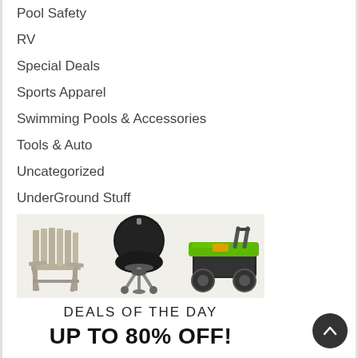Pool Safety
RV
Special Deals
Sports Apparel
Swimming Pools & Accessories
Tools & Auto
Uncategorized
UnderGround Stuff
Women's Apparel
[Figure (illustration): Promotional banner showing an Adirondack chair, a kettle grill, and a green lawn mower above text reading 'DEALS OF THE DAY / UP TO 80% OFF!']